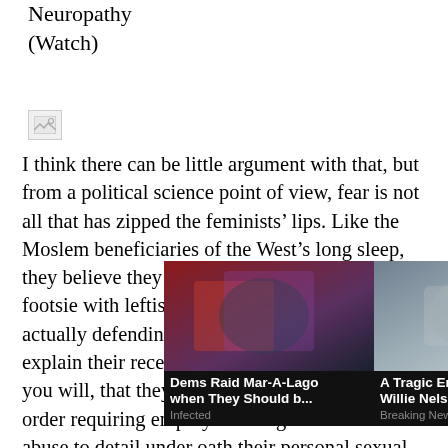Neuropathy
(Watch)
[Figure (other): Broken/missing image placeholder icon]
I think there can be little argument with that, but from a political science point of view, fear is not all that has zipped the feminists’ lips. Like the Moslem beneficiaries of the West’s long sleep, they believe they have more to gain by playing footsie with leftist politicians than they do by actually defending women. How else do you explain their recent history in the US? Recall, if you will, that they got President Clinton to sign an order requiring employers charged with sexual abuse to detail under oath their personal sexual histories despite the legal irrelevance to the case. Obviously they believed that this would encourage quick settlements on behalf of women claimants regardless of the seriousness of the charges. When Pa[...] is trap of his ow[...] e feminists[...] ver spring in[...] ations in
[Figure (other): Ad overlay: two sponsored content blocks. Left: 'Dems Raid Mar-A-Lago when They Should b...' source: Infected. Right: 'A Tragic End Today For Willie Nelson' source: Breaking News. Close button (x) top right.]